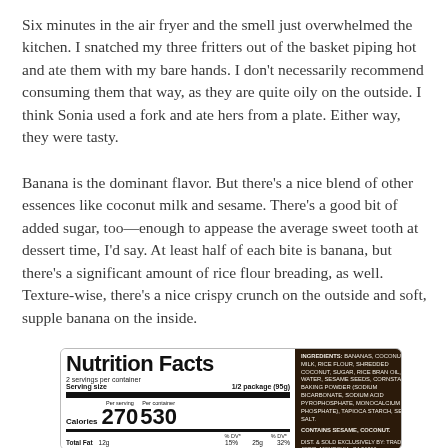Six minutes in the air fryer and the smell just overwhelmed the kitchen. I snatched my three fritters out of the basket piping hot and ate them with my bare hands. I don't necessarily recommend consuming them that way, as they are quite oily on the outside. I think Sonia used a fork and ate hers from a plate. Either way, they were tasty.
Banana is the dominant flavor. But there's a nice blend of other essences like coconut milk and sesame. There's a good bit of added sugar, too—enough to appease the average sweet tooth at dessert time, I'd say. At least half of each bite is banana, but there's a significant amount of rice flour breading, as well. Texture-wise, there's a nice crispy crunch on the outside and soft, supple banana on the inside.
[Figure (other): Nutrition Facts label showing 2 servings per container, serving size 1/2 package (95g), 270 calories per serving / 530 per container, Total Fat 12g 15% per serving / 25g 32% per container. Ingredients: Bananas, Coconut Milk, Rice Flour, Shredded Coconut, Sugar, Rice Bran Oil, Water, Sesame Seeds, Cornstarch, Baking Powder (Sodium Bicarbonate, Sodium Acid Pyrophosphate, Monocalcium Phosphate), Tapioca Starch, Sea Salt. Contains Sesame, Coconut. Dist. & Sold Exclusively By: Trader Joe's, Monrovia, CA 91016. Product of Thailand.]